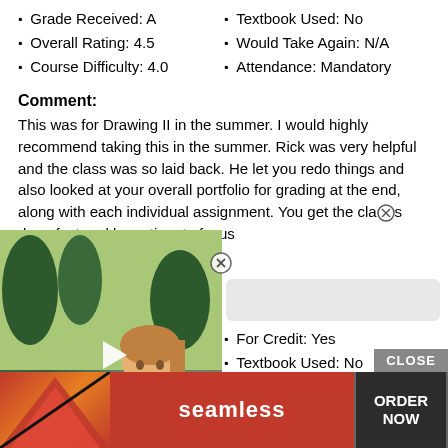Grade Received: A
Textbook Used: No
Overall Rating: 4.5
Would Take Again: N/A
Course Difficulty: 4.0
Attendance: Mandatory
Comment:
This was for Drawing II in the summer. I would highly recommend taking this in the summer. Rick was very helpful and the class was so laid back. He let you redo things and also looked at your overall portfolio for grading at the end, along with each individual assignment. You get the class done fast and have time to focus
[Figure (screenshot): Video player overlay showing a girl, with play button]
Course: ART132
For Credit: Yes
Grade Received: Not sure yet
Textbook Used: No
Overall Rating: 4.5
Would Take Again: Yes
Course Difficulty: 4.0
Attendance: —
Comment:
[Figure (screenshot): Ad banner for Seamless food ordering with ORDER NOW button and CLOSE button]